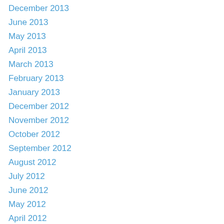December 2013
June 2013
May 2013
April 2013
March 2013
February 2013
January 2013
December 2012
November 2012
October 2012
September 2012
August 2012
July 2012
June 2012
May 2012
April 2012
March 2012
February 2012
January 2012
December 2011